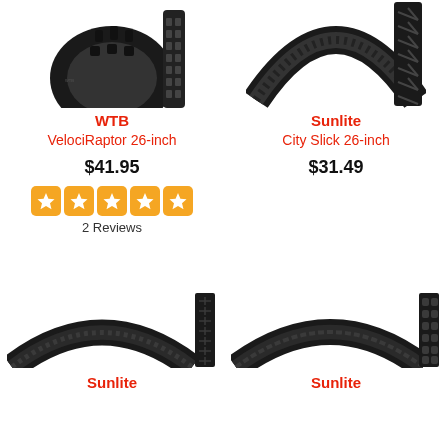[Figure (photo): WTB VelociRaptor 26-inch mountain bike tire product photo showing knobby tread pattern]
WTB
VelociRaptor 26-inch
$41.95
[Figure (other): 5 orange star rating icons]
2 Reviews
[Figure (photo): Sunlite City Slick 26-inch road bike tire product photo showing slick tread pattern]
Sunlite
City Slick 26-inch
$31.49
[Figure (photo): Sunlite bicycle tire product photo - bottom left, showing city/touring tread pattern]
[Figure (photo): Sunlite bicycle tire product photo - bottom right, showing knobby tread pattern]
Sunlite
Sunlite